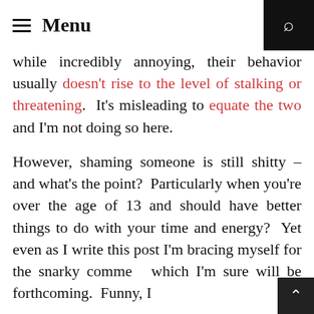≡ Menu
while incredibly annoying, their behavior usually doesn't rise to the level of stalking or threatening. It's misleading to equate the two and I'm not doing so here.
However, shaming someone is still shitty – and what's the point? Particularly when you're over the age of 13 and should have better things to do with your time and energy? Yet even as I write this post I'm bracing myself for the snarky comment which I'm sure will be forthcoming. Funny, I